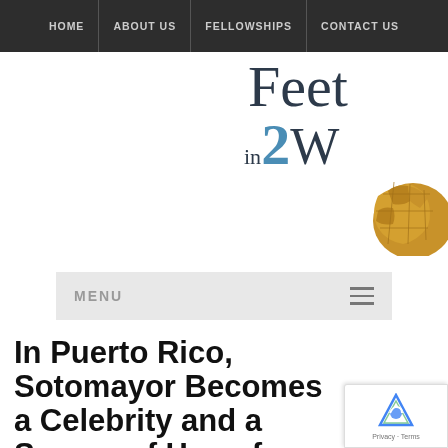HOME | ABOUT US | FELLOWSHIPS | CONTACT US
[Figure (logo): Feet in 2 Worlds logo with partial globe illustration — 'Feet' in dark serif, 'in 2 W' with large blue '2', and a golden-brown globe map graphic]
MENU
In Puerto Rico, Sotomayor Becomes a Celebrity and a Source of Hope for Self